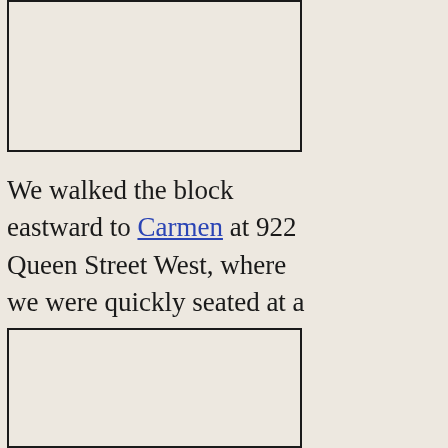[Figure (photo): Top left image placeholder box with dark border]
[Figure (photo): Top right image area (no border visible)]
We walked the block eastward to Carmen at 922 Queen Street West, where we were quickly seated at a couple of small tables pushed together in the bar area.
[Figure (photo): Bottom left image placeholder box with dark border]
[Figure (photo): Bottom right image area (no border visible)]